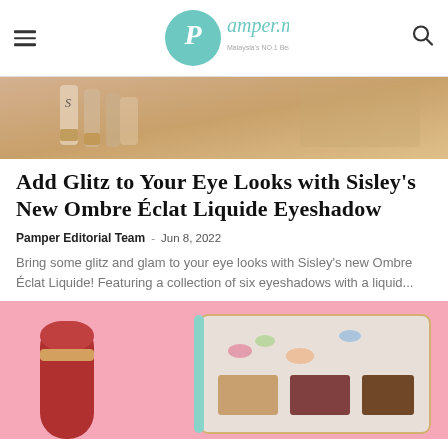pamper.my — Malaysia's NO.1 Beauty & Lifestyle Website
[Figure (photo): Close-up of Sisley cosmetics bottles with gold caps on a warm beige background]
Add Glitz to Your Eye Looks with Sisley's New Ombre Éclat Liquide Eyeshadow
Pamper Editorial Team · Jun 8, 2022
Bring some glitz and glam to your eye looks with Sisley's new Ombre Éclat Liquide! Featuring a collection of six eyeshadows with a liquid...
[Figure (photo): Beauty products on pink background: red lipstick and butterfly-decorated makeup palette]